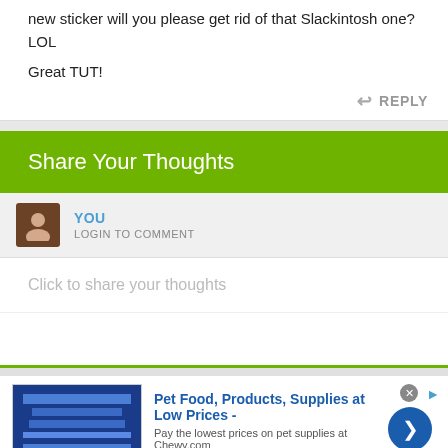new sticker will you please get rid of that Slackintosh one? LOL
Great TUT!
REPLY
Share Your Thoughts
YOU
LOGIN TO COMMENT
Click to share your thoughts
[Figure (screenshot): Advertisement for Chewy.com: Pet Food, Products, Supplies at Low Prices - Pay the lowest prices on pet supplies at Chewy.com]
Pet Food, Products, Supplies at Low Prices -
Pay the lowest prices on pet supplies at Chewy.com
chewy.com